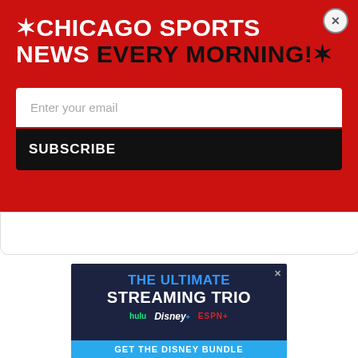[Figure (screenshot): Red newsletter signup popup overlay with star icons, title '★CHICAGO SPORTS NEWS EVERY MORNING!★', email input field placeholder 'Enter your email', and black SUBSCRIBE button]
[Figure (screenshot): Dark navy blue advertisement for Disney Bundle streaming service. Text: 'THE ULTIMATE STREAMING TRIO' with Hulu, Disney+, and ESPN+ logos, and a blue 'GET THE DISNEY BUNDLE' button at the bottom]